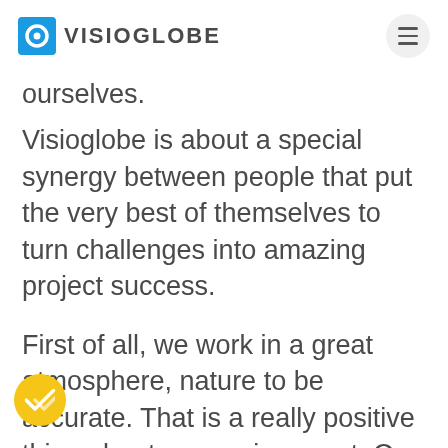VISIOGLOBE
ourselves.
Visioglobe is about a special synergy between people that put the very best of themselves to turn challenges into amazing project success.
First of all, we work in a great atmosphere, nature to be accurate. That is a really positive thing about our environment. Our HQ office is based in the French Alps, mountains on both sides that inspire us and make us dream. But even though we love our mountains, we turn our attention to the